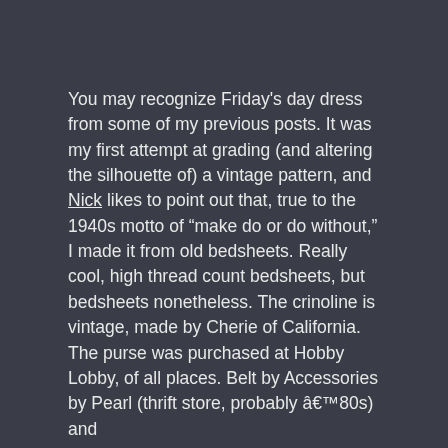You may recognize Friday's day dress from some of my previous posts. It was my first attempt at grading (and altering the silhouette of) a vintage pattern, and Nick likes to point out that, true to the 1940s motto of "make do or do without," I made it from old bedsheets. Really cool, high thread count bedsheets, but bedsheets nonetheless. The crinoline is vintage, made by Cherie of California. The purse was purchased at Hobby Lobby, of all places. Belt by Accessories by Pearl (thrift store, probably â€™80s) and